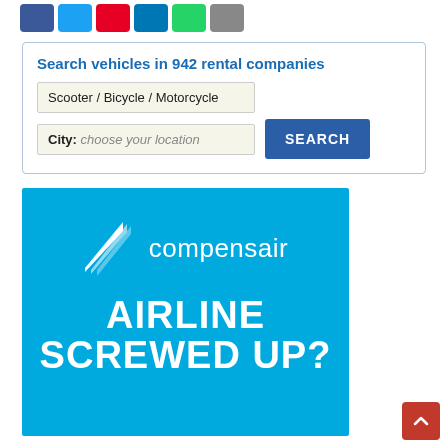[Figure (other): Row of social media share buttons: Facebook (blue), Twitter (light blue), Pinterest (red), LinkedIn (dark blue), WhatsApp (green), Email (grey)]
Search vehicles in 942 rental companies
Scooter / Bicycle / Motorcycle
City: choose your location
SEARCH
[Figure (logo): Compensair advertisement banner with light blue background. Shows the Compensair logo (stylized wing/tail icon + text 'compensair') at top and large white text reading 'AIRLINE SCREWED UP?' at the bottom.]